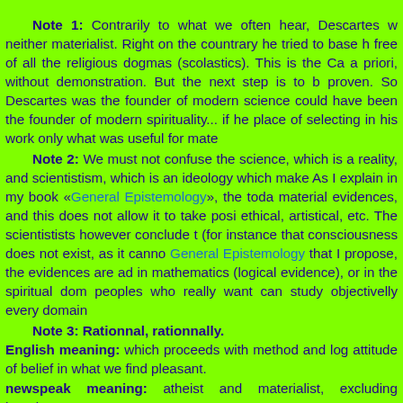Note 1: Contrarily to what we often hear, Descartes w... neither materialist. Right on the countrary he tried to base h... free of all the religious dogmas (scolastics). This is the Ca... a priori, without demonstration. But the next step is to b... proven. So Descartes was the founder of modern science... could have been the founder of modern spirituality... if he ... place of selecting in his work only what was useful for mate...
Note 2: We must not confuse the science, which is a ... reality, and scientistism, which is an ideology which make... As I explain in my book «General Epistemology», the toda... material evidences, and this does not allow it to take posi... ethical, artistical, etc. The scientistists however conclude t... (for instance that consciousness does not exist, as it canno... General Epistemology that I propose, the evidences are ad... in mathematics (logical evidence), or in the spiritual dom... peoples who really want can study objectivelly every domain...
Note 3: Rationnal, rationnally.
English meaning: which proceeds with method and log... attitude of belief in what we find pleasant.
newspeak meaning: atheist and materialist, excluding... happiness.